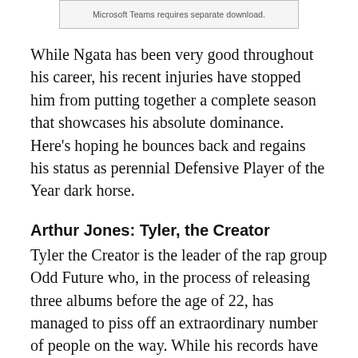[Figure (screenshot): Gray box with caption text: Microsoft Teams requires separate download.]
While Ngata has been very good throughout his career, his recent injuries have stopped him from putting together a complete season that showcases his absolute dominance. Here's hoping he bounces back and regains his status as perennial Defensive Player of the Year dark horse.
Arthur Jones: Tyler, the Creator
Tyler the Creator is the leader of the rap group Odd Future who, in the process of releasing three albums before the age of 22, has managed to piss off an extraordinary number of people on the way. While his records have been received with mostly positive reviews, his perchance for offhand homophobic language and talk of violence against women has left